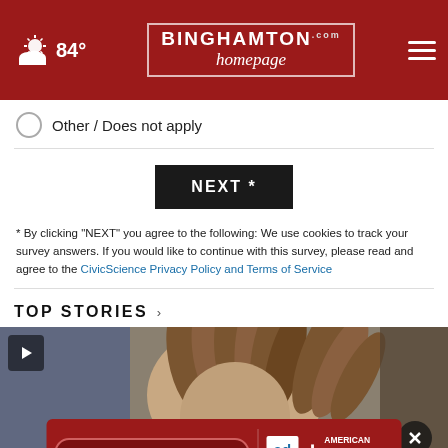84° Binghamton Homepage
Other / Does not apply
NEXT *
* By clicking "NEXT" you agree to the following: We use cookies to track your survey answers. If you would like to continue with this survey, please read and agree to the CivicScience Privacy Policy and Terms of Service
TOP STORIES ›
[Figure (photo): Video thumbnail of a person with braided hair, with a play button icon in the top-left corner and a close (X) button. An ad banner at the bottom reads 'Get SAVEDBYTHESCAN.ORG' with ad council and American Lung Association logos.]